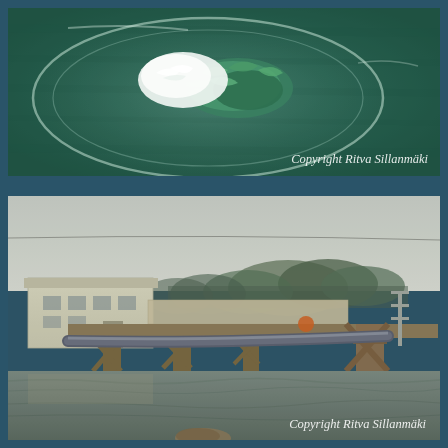[Figure (photo): Top-down view of a glass bowl/dish on a dark green textured surface, containing white creamy substance and green herbs/garnish. Vintage/filtered photography style. Copyright watermark 'Copyright Ritva Sillanmäki' in italic white text at bottom right.]
[Figure (photo): Outdoor photograph of a wooden bridge over a river/waterway, with a white building/warehouse on the left bank, trees in the background, overcast sky. A large pipe runs along the bridge. Vintage/retro filtered style. Copyright watermark 'Copyright Ritva Sillanmäki' in italic white text at bottom right.]